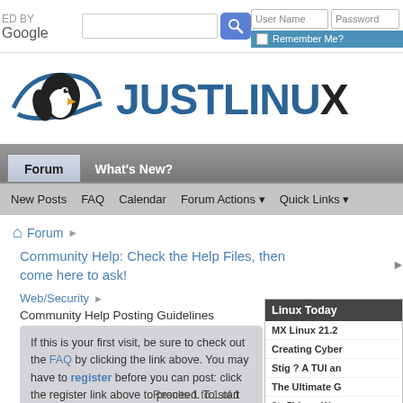[Figure (screenshot): JustLinux forum website screenshot showing search bar, login area, site logo with penguin, navigation tabs (Forum, What's New?), sub-navigation (New Posts, FAQ, Calendar, Forum Actions, Quick Links), breadcrumb trail, forum thread listing for Community Help, and Linux Today sidebar]
ED BY Google | User Name | Password | Remember Me?
JUSTLINUX
Forum | What's New?
New Posts  FAQ  Calendar  Forum Actions  Quick Links
Forum
Community Help: Check the Help Files, then come here to ask!
Web/Security
Community Help Posting Guidelines
If this is your first visit, be sure to check out the FAQ by clicking the link above. You may have to register before you can post: click the register link above to proceed. To start viewing messages, select the forum that you want to visit from the selection below.
Results 1 to 1 of 1
Linux Today
MX Linux 21.2
Creating Cyber
Stig ? A TUI an
The Ultimate G
9to5Linux Wee
How to Run Pa Linux